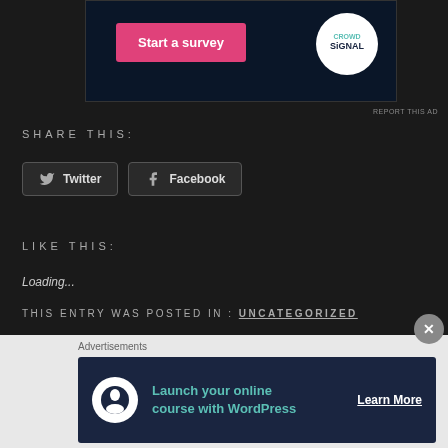[Figure (screenshot): Advertisement banner with pink 'Start a survey' button and Crowd Signal circular logo on dark navy background]
REPORT THIS AD
SHARE THIS:
Twitter  Facebook
LIKE THIS:
Loading...
THIS ENTRY WAS POSTED IN: UNCATEGORIZED
Advertisements
[Figure (screenshot): Bottom advertisement banner: 'Launch your online course with WordPress' with tree/person icon and 'Learn More' button on dark navy background]